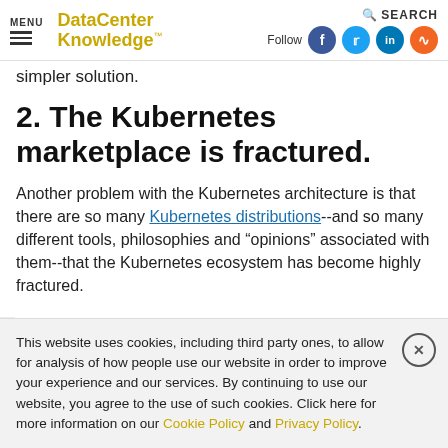MENU | DataCenter Knowledge | Follow | SEARCH
simpler solution.
2. The Kubernetes marketplace is fractured.
Another problem with the Kubernetes architecture is that there are so many Kubernetes distributions--and so many different tools, philosophies and “opinions” associated with them--that the Kubernetes ecosystem has become highly fractured.
This website uses cookies, including third party ones, to allow for analysis of how people use our website in order to improve your experience and our services. By continuing to use our website, you agree to the use of such cookies. Click here for more information on our Cookie Policy and Privacy Policy.